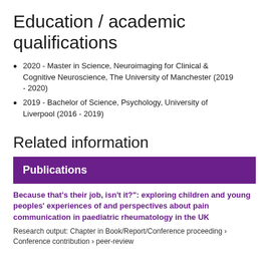Education / academic qualifications
2020 - Master in Science, Neuroimaging for Clinical & Cognitive Neuroscience, The University of Manchester (2019 - 2020)
2019 - Bachelor of Science, Psychology, University of Liverpool (2016 - 2019)
Related information
Publications
Because that’s their job, isn’t it?”: exploring children and young peoples’ experiences of and perspectives about pain communication in paediatric rheumatology in the UK
Research output: Chapter in Book/Report/Conference proceeding › Conference contribution › peer-review